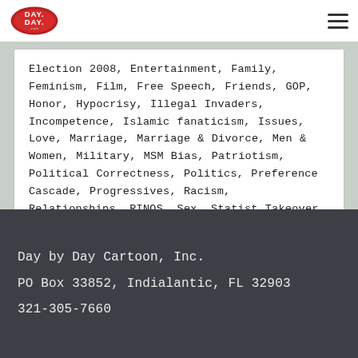[Figure (logo): Day by Day Cartoon logo — oval/football shape with 'DAY DAY .com' text in red and white]
Election 2008, Entertainment, Family, Feminism, Film, Free Speech, Friends, GOP, Honor, Hypocrisy, Illegal Invaders, Incompetence, Islamic fanaticism, Issues, Love, Marriage, Marriage & Divorce, Men & Women, Military, MSM Bias, Patriotism, Political Correctness, Politics, Preference Cascade, Progressives, Racism, Relationships, RINOS, Sex, Statist Takeover, Tech
Day by Day Cartoon, Inc.
PO Box 33852, Indialantic, FL 32903
321-305-7660